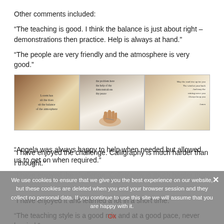Other comments included:
“The teaching is good. I think the balance is just about right – demonstrations then practice. Help is always at hand.”
“The people are very friendly and the atmosphere is very good.”
[Figure (photo): Three photographs showing calligraphy handwriting practice: left photo shows a piece of paper with cursive writing on a wooden table, middle photo shows a hand writing on paper with a pen, right photo shows another piece of paper with handwritten calligraphy text.]
“Angela was always happy to help when needed but allowed us to get on when required.”
“I have enjoyed the challenge. Calligraphy is much harder than I thought.”
“I have enjoyed it and learned a lot in a short time.”
“The teaching style is a good mix and at a good pace, never hurried.”
“I think all of ...
We use cookies to ensure that we give you the best experience on our website, but these cookies are deleted when you end your browser session and they collect no personal data. If you continue to use this site we will assume that you are happy with it.
Ok